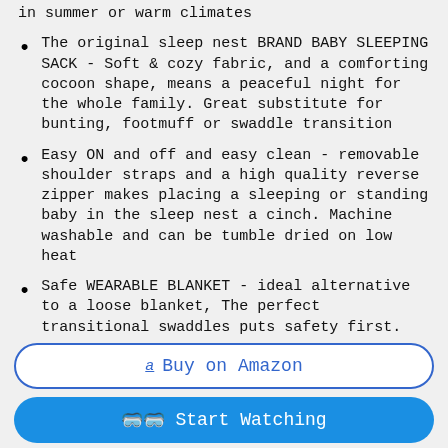in summer or warm climates
The original sleep nest BRAND BABY SLEEPING SACK - Soft & cozy fabric, and a comforting cocoon shape, means a peaceful night for the whole family. Great substitute for bunting, footmuff or swaddle transition
Easy ON and off and easy clean - removable shoulder straps and a high quality reverse zipper makes placing a sleeping or standing baby in the sleep nest a cinch. Machine washable and can be tumble dried on low heat
Safe WEARABLE BLANKET - ideal alternative to a loose blanket, The perfect transitional swaddles puts safety first. Hand and arm free. Perfect for air-conditioned homes. Recommended room temperature is 70-80 degrees
Universal sizes with lots of variations in size and color, find the perfect sleep nest for boys, girls, newborns, all ages 6,
Buy on Amazon
Start Watching